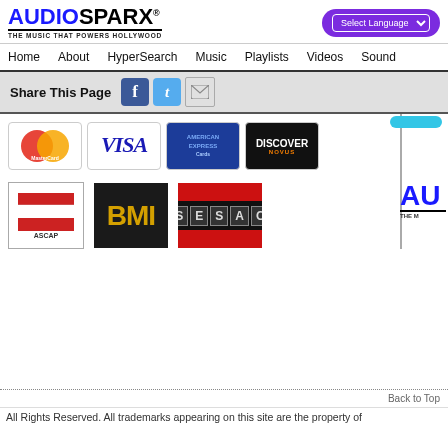AUDIOSPARX - THE MUSIC THAT POWERS HOLLYWOOD
Home | About | HyperSearch | Music | Playlists | Videos | Sound
Share This Page
[Figure (logo): MasterCard logo]
[Figure (logo): VISA logo]
[Figure (logo): American Express logo]
[Figure (logo): Discover Novus logo]
[Figure (logo): ASCAP logo]
[Figure (logo): BMI logo]
[Figure (logo): SESAC logo]
Back to Top
All Rights Reserved. All trademarks appearing on this site are the property of